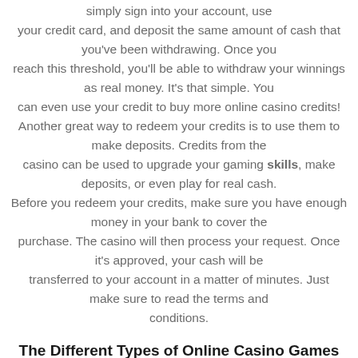simply sign into your account, use your credit card, and deposit the same amount of cash that you've been withdrawing. Once you reach this threshold, you'll be able to withdraw your winnings as real money. It's that simple. You can even use your credit to buy more online casino credits! Another great way to redeem your credits is to use them to make deposits. Credits from the casino can be used to upgrade your gaming skills, make deposits, or even play for real cash. Before you redeem your credits, make sure you have enough money in your bank to cover the purchase. The casino will then process your request. Once it's approved, your cash will be transferred to your account in a matter of minutes. Just make sure to read the terms and conditions.
The Different Types of Online Casino Games